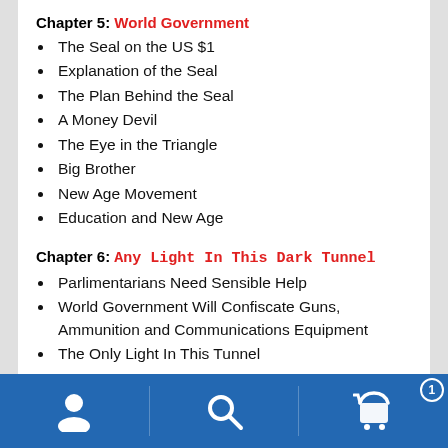Chapter 5: World Government
The Seal on the US $1
Explanation of the Seal
The Plan Behind the Seal
A Money Devil
The Eye in the Triangle
Big Brother
New Age Movement
Education and New Age
Chapter 6: Any Light In This Dark Tunnel
Parlimentarians Need Sensible Help
World Government Will Confiscate Guns, Ammunition and Communications Equipment
The Only Light In This Tunnel
[Figure (other): Mobile app bottom navigation bar with blue background, showing user/account icon, search icon, and shopping cart icon with badge showing '1']